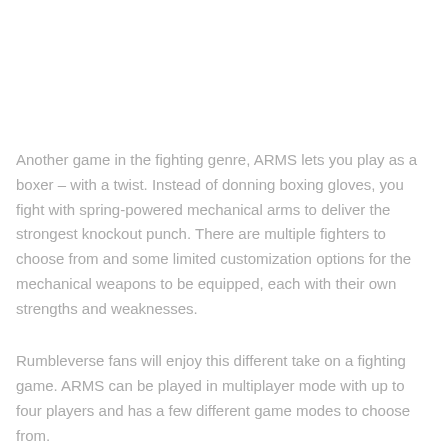Another game in the fighting genre, ARMS lets you play as a boxer – with a twist. Instead of donning boxing gloves, you fight with spring-powered mechanical arms to deliver the strongest knockout punch. There are multiple fighters to choose from and some limited customization options for the mechanical weapons to be equipped, each with their own strengths and weaknesses.
Rumbleverse fans will enjoy this different take on a fighting game. ARMS can be played in multiplayer mode with up to four players and has a few different game modes to choose from.
2. Super Smash Bros.